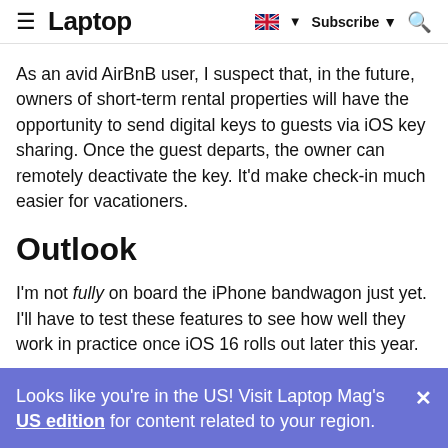≡ Laptop  🇬🇧 ▼  Subscribe ▼  🔍
As an avid AirBnB user, I suspect that, in the future, owners of short-term rental properties will have the opportunity to send digital keys to guests via iOS key sharing. Once the guest departs, the owner can remotely deactivate the key. It'd make check-in much easier for vacationers.
Outlook
I'm not fully on board the iPhone bandwagon just yet. I'll have to test these features to see how well they work in practice once iOS 16 rolls out later this year.
Looks like you're in the US! Visit Laptop Mag's US edition for content related to your region.